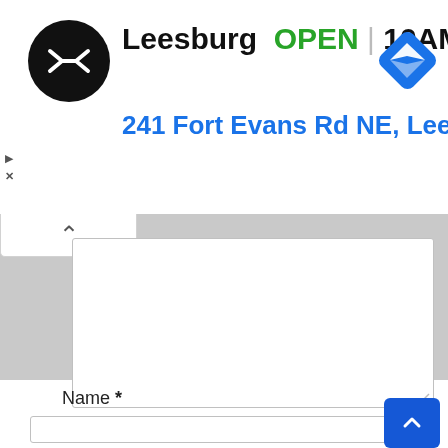[Figure (screenshot): Ad banner showing a store logo (black circle with double-arrow symbol), text 'Leesburg OPEN 10AM-9PM' and address '241 Fort Evans Rd NE, Leesb', with a blue navigation diamond icon on the right. Also shows ad controls (play and dismiss icons). Below the ad is a web form with a collapsed panel (caret up button), a large textarea, a 'Name *' label and text input, and an 'Email *' label partially visible. A blue scroll-to-top button is in the bottom-right corner.]